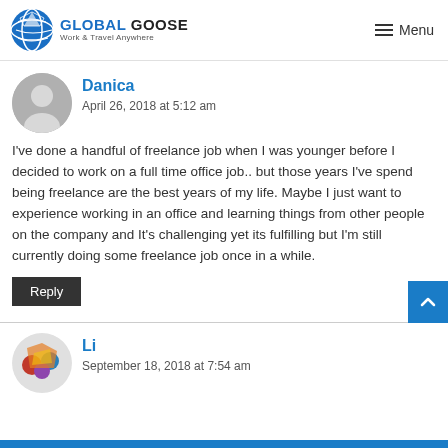GLOBAL GOOSE Work & Travel Anywhere | Menu
Danica
April 26, 2018 at 5:12 am
I've done a handful of freelance job when I was younger before I decided to work on a full time office job.. but those years I've spend being freelance are the best years of my life. Maybe I just want to experience working in an office and learning things from other people on the company and It's challenging yet its fulfilling but I'm still currently doing some freelance job once in a while.
Reply
Li
September 18, 2018 at 7:54 am